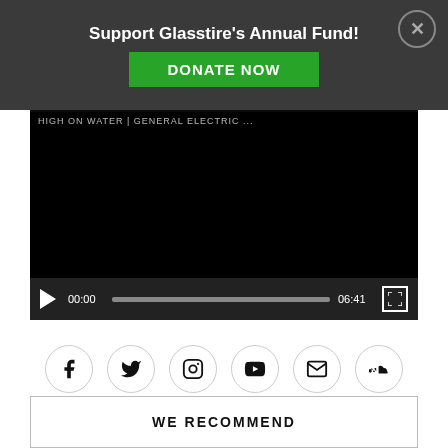Support Glasstire's Annual Fund!
DONATE NOW
[Figure (screenshot): Video player showing a black screen with playback controls: play button, time 00:00, progress bar, end time 06:41, fullscreen button. A donation banner overlays the top with 'Support Glasstire's Annual Fund!' and 'DONATE NOW' button, plus a close (X) button.]
[Figure (infographic): Row of six social media icons in circular outlines: Facebook, Twitter, Instagram, YouTube, Email, SoundCloud]
WE RECOMMEND